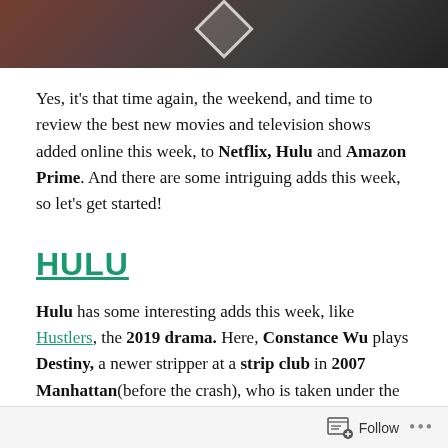[Figure (photo): Partial photo at top of page showing a holiday/Christmas scene with people, partially obscured, with a diamond/chevron overlay graphic]
Yes, it's that time again, the weekend, and time to review the best new movies and television shows added online this week, to Netflix, Hulu and Amazon Prime. And there are some intriguing adds this week, so let’s get started!
HULU
Hulu has some interesting adds this week, like Hustlers, the 2019 drama. Here, Constance Wu plays Destiny, a newer stripper at a strip club in 2007 Manhattan(before the crash), who is taken under the wing of Ramona, played by Jennifer
Follow ...